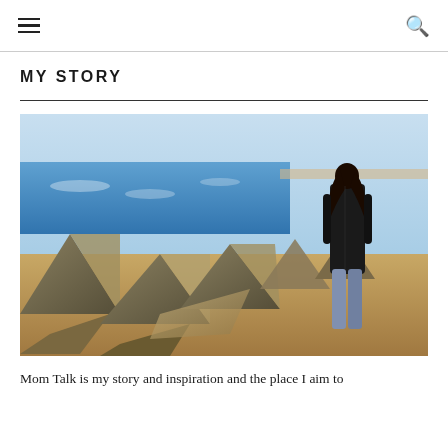☰  🔍
MY STORY
[Figure (photo): A woman with long dark hair wearing a black leather jacket and jeans stands on a rocky beach breakwater, looking out toward the ocean. Large concrete tetrapod rocks are visible in the foreground and background. The scene is lit with warm golden-hour light.]
Mom Talk is my story and inspiration and the place I aim to